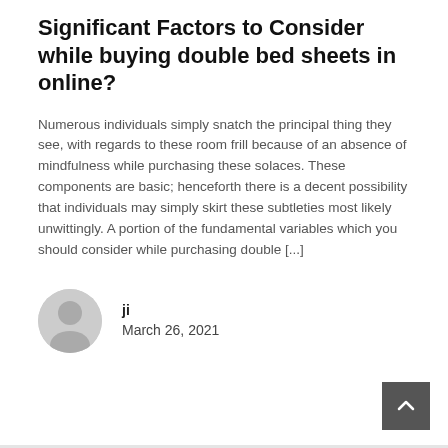Significant Factors to Consider while buying double bed sheets in online?
Numerous individuals simply snatch the principal thing they see, with regards to these room frill because of an absence of mindfulness while purchasing these solaces. These components are basic; henceforth there is a decent possibility that individuals may simply skirt these subtleties most likely unwittingly. A portion of the fundamental variables which you should consider while purchasing double [...]
ji
March 26, 2021